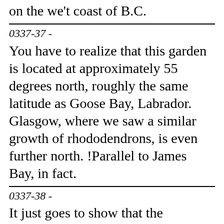on the we't coast of B.C.
0337-37 -
You have to realize that this garden is located at approximately 55 degrees north, roughly the same latitude as Goose Bay, Labrador. Glasgow, where we saw a similar growth of rhododendrons, is even further north. !Parallel to James Bay, in fact.
0337-38 -
It just goes to show that the propaganda about Britain having a miserable climate hasn't filtered through to the plant community. They've migrated here in